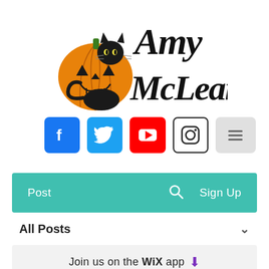[Figure (logo): Amy McLean brand logo with halloween-themed jack-o-lantern pumpkin and black cat silhouette next to stylized gothic text reading 'Amy McLean']
[Figure (infographic): Social media icons row: Facebook (blue square), Twitter (blue square), YouTube (red square), Instagram (outline circle square), and a hamburger menu button (gray square with three lines)]
Post    🔍    Sign Up
All Posts
Join us on the WIX app ⬇
Dec 6, 2021